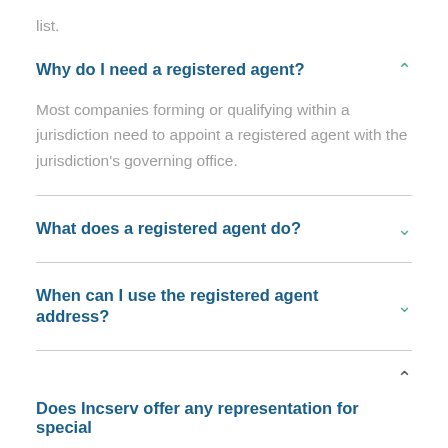list.
Why do I need a registered agent?
Most companies forming or qualifying within a jurisdiction need to appoint a registered agent with the jurisdiction's governing office.
What does a registered agent do?
When can I use the registered agent address?
Does Incserv offer any representation for special